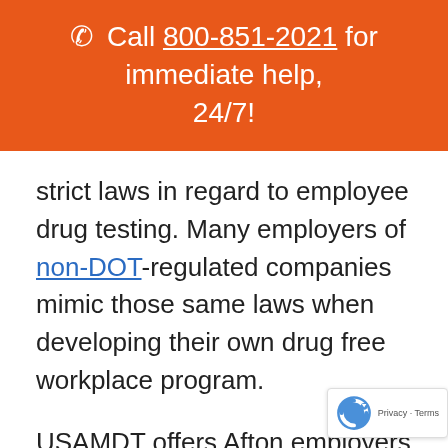📞 Call 800-851-2021 for immediate help, 24/7!
strict laws in regard to employee drug testing. Many employers of non-DOT-regulated companies mimic those same laws when developing their own drug free workplace program.
USAMDT offers Afton employers a program that customizes your drug testing policies to meet your specific